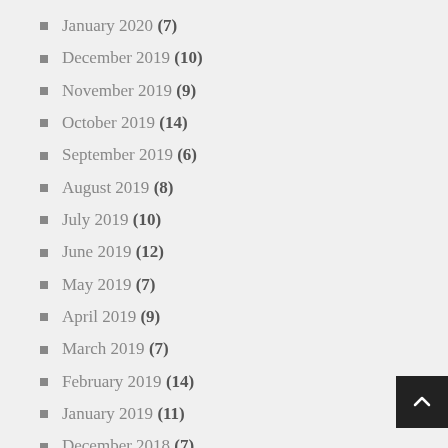January 2020 (7)
December 2019 (10)
November 2019 (9)
October 2019 (14)
September 2019 (6)
August 2019 (8)
July 2019 (10)
June 2019 (12)
May 2019 (7)
April 2019 (9)
March 2019 (7)
February 2019 (14)
January 2019 (11)
December 2018 (7)
November 2018 (8)
October 2018 (10)
September 2018 (10)